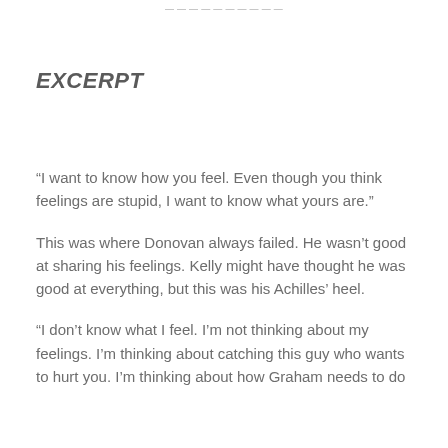EXCERPT
“I want to know how you feel. Even though you think feelings are stupid, I want to know what yours are.”
This was where Donovan always failed. He wasn’t good at sharing his feelings. Kelly might have thought he was good at everything, but this was his Achilles’ heel.
“I don’t know what I feel. I’m not thinking about my feelings. I’m thinking about catching this guy who wants to hurt you. I’m thinking about how Graham needs to do